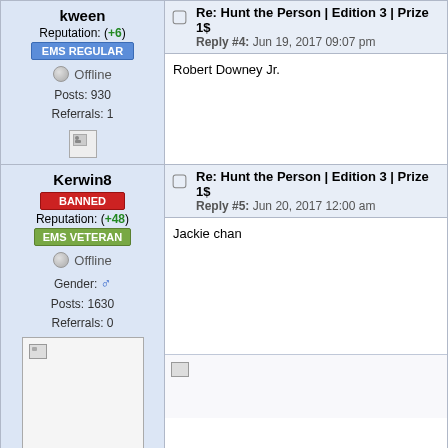kween
Reputation: (+6)
EMS REGULAR
Offline
Posts: 930
Referrals: 1
Re: Hunt the Person | Edition 3 | Prize 1$
Reply #4: Jun 19, 2017 09:07 pm
Robert Downey Jr.
Kerwin8
BANNED
Reputation: (+48)
EMS VETERAN
Offline
Gender: ♂
Posts: 1630
Referrals: 0
Re: Hunt the Person | Edition 3 | Prize 1$
Reply #5: Jun 20, 2017 12:00 am
Jackie chan